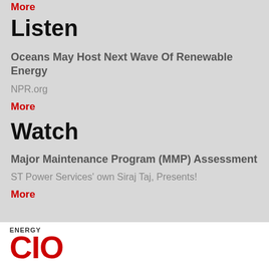More
Listen
Oceans May Host Next Wave Of Renewable Energy
NPR.org
More
Watch
Major Maintenance Program (MMP) Assessment
ST Power Services' own Siraj Taj, Presents!
More
[Figure (logo): Energy CIO logo with ENERGY text above large red CIO letters]